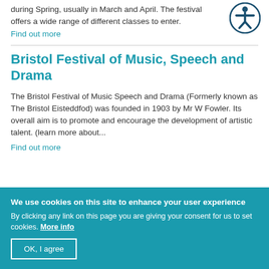during Spring, usually in March and April. The festival offers a wide range of different classes to enter.
Find out more
Bristol Festival of Music, Speech and Drama
The Bristol Festival of Music Speech and Drama (Formerly known as The Bristol Eisteddfod) was founded in 1903 by Mr W Fowler. Its overall aim is to promote and encourage the development of artistic talent. (learn more about...
Find out more
We use cookies on this site to enhance your user experience
By clicking any link on this page you are giving your consent for us to set cookies. More info
OK, I agree